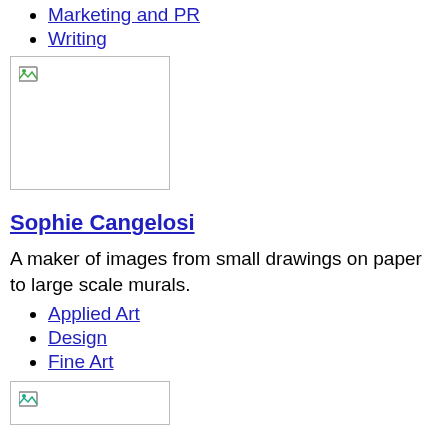Marketing and PR
Writing
[Figure (photo): Placeholder image with broken icon, bordered box]
Sophie Cangelosi
A maker of images from small drawings on paper to large scale murals.
Applied Art
Design
Fine Art
[Figure (photo): Placeholder image with broken icon, bordered box (partial, at bottom)]